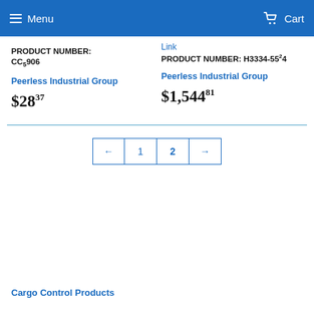Menu  Cart
Link
PRODUCT NUMBER: CC5906
Peerless Industrial Group
$2837
PRODUCT NUMBER: H3334-5524
Peerless Industrial Group
$1,54481
← 1 2 →
Cargo Control Products